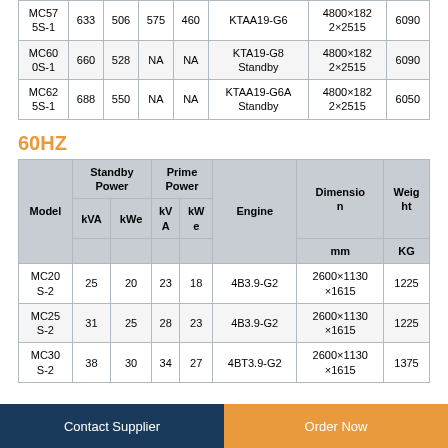| Model | Standby Power kVA | Standby Power kWe | Prime Power kVA | Prime Power kWe | Engine | Dimension mm | Weight KG |
| --- | --- | --- | --- | --- | --- | --- | --- |
| MC575S-1 | 633 | 506 | 575 | 460 | KTAA19-G6 | 4800×1822×2515 | 6090 |
| MC600S-1 | 660 | 528 | NA | NA | KTA19-G8 Standby | 4800×1822×2515 | 6090 |
| MC625S-1 | 688 | 550 | NA | NA | KTAA19-G6A Standby | 4800×1822×2515 | 6050 |
60HZ
| Model | Standby Power kVA | Standby Power kWe | Prime Power kVA | Prime Power kWe | Engine | Dimension mm | Weight KG |
| --- | --- | --- | --- | --- | --- | --- | --- |
| MC20S-2 | 25 | 20 | 23 | 18 | 4B3.9-G2 | 2600×1130×1615 | 1225 |
| MC25S-2 | 31 | 25 | 28 | 23 | 4B3.9-G2 | 2600×1130×1615 | 1225 |
| MC30S-2 | 38 | 30 | 34 | 27 | 4BT3.9-G2 | 2600×1130×1615 | 1375 |
Contact Supplier | Order Now